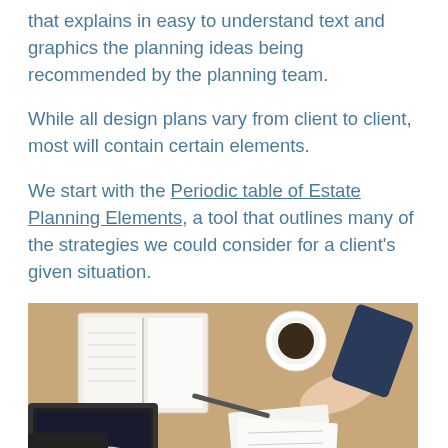that explains in easy to understand text and graphics the planning ideas being recommended by the planning team.
While all design plans vary from client to client, most will contain certain elements.
We start with the Periodic table of Estate Planning Elements, a tool that outlines many of the strategies we could consider for a client's given situation.
[Figure (photo): Overhead view of a business meeting table showing hands, a laptop, an open notebook, a coffee cup, a pen, and papers being reviewed.]